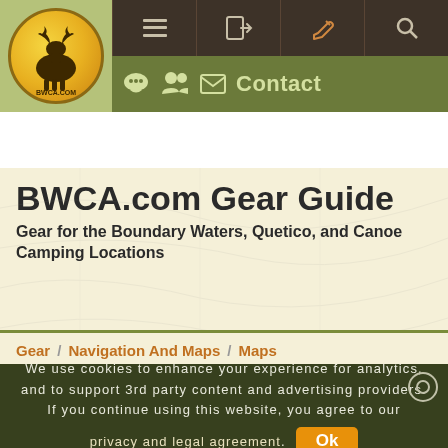[Figure (logo): BWCA.com logo - circular yellow badge with moose silhouette]
Navigation icons: menu, login, edit, search
Contact icons: chat, group, email, Contact
BWCA.com Gear Guide
Gear for the Boundary Waters, Quetico, and Canoe Camping Locations
Gear / Navigation And Maps / Maps
We use cookies to enhance your experience for analytics, and to support 3rd party content and advertising providers. If you continue using this website, you agree to our privacy and legal agreement. Ok